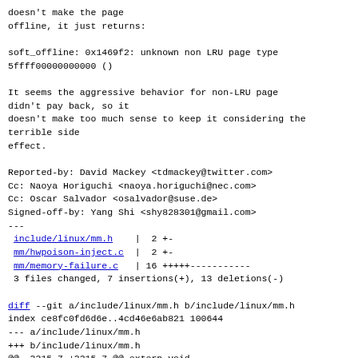doesn't make the page
offline, it just returns:
soft_offline: 0x1469f2: unknown non LRU page type
5ffff00000000000 ()
It seems the aggressive behavior for non-LRU page
didn't pay back, so it
doesn't make too much sense to keep it considering the terrible side
effect.
Reported-by: David Mackey <tdmackey@twitter.com>
Cc: Naoya Horiguchi <naoya.horiguchi@nec.com>
Cc: Oscar Salvador <osalvador@suse.de>
Signed-off-by: Yang Shi <shy828301@gmail.com>
---
include/linux/mm.h    |  2 +-
 mm/hwpoison-inject.c  |  2 +-
 mm/memory-failure.c   | 16 +++++-----------
 3 files changed, 7 insertions(+), 13 deletions(-)
diff --git a/include/linux/mm.h b/include/linux/mm.h
index ce8fc0fd6d6e..4cd46e6ab821 100644
--- a/include/linux/mm.h
+++ b/include/linux/mm.h
@@ -3215,7 +3215,7 @@ extern void
memory_failure_queue_kick(int cpu);
 extern int unpoison_memory(unsigned long pfn);
 extern int sysctl_memory_failure_early_kill;